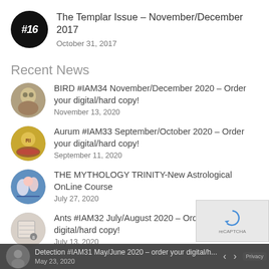The Templar Issue – November/December 2017
October 31, 2017
Recent News
BIRD #IAM34 November/December 2020 – Order your digital/hard copy!
November 13, 2020
Aurum #IAM33 September/October 2020 – Order your digital/hard copy!
September 11, 2020
THE MYTHOLOGY TRINITY-New Astrological OnLine Course
July 27, 2020
Ants #IAM32 July/August 2020 – Order your digital/hard copy!
July 13, 2020
Detection #IAM31 May/June 2020 – order your digital/h...
May 23, 2020